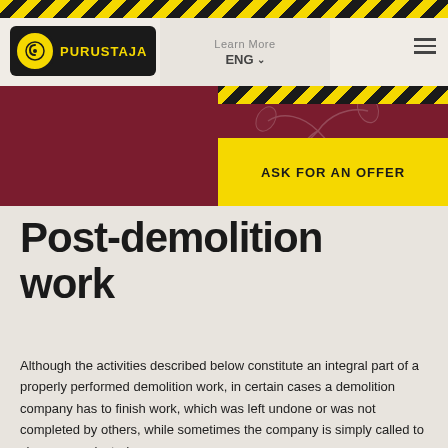[Figure (logo): Purustaja logo: black rounded rectangle with yellow circle icon and PURUSTAJA text in yellow]
Learn More  ENG ∨
[Figure (screenshot): Dark red banner with decorative floral pattern, hazard stripes top-right, and yellow ASK FOR AN OFFER button]
Post-demolition work
Although the activities described below constitute an integral part of a properly performed demolition work, in certain cases a demolition company has to finish work, which was left undone or was not completed by others, while sometimes the company is simply called to clean up neglected areas.